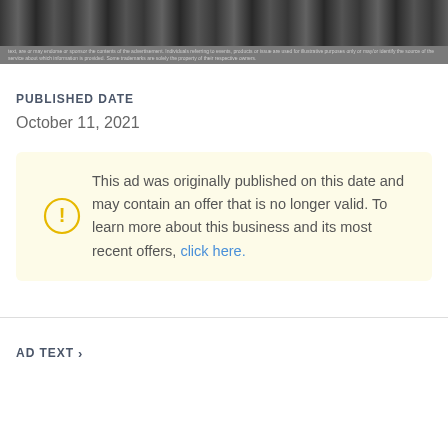[Figure (photo): Top banner with dark image strip showing a series of small thumbnail images]
This ad was originally published on this date and may contain an offer that is no longer valid. To learn more about this business and its most recent offers, click here.
PUBLISHED DATE
October 11, 2021
AD TEXT >